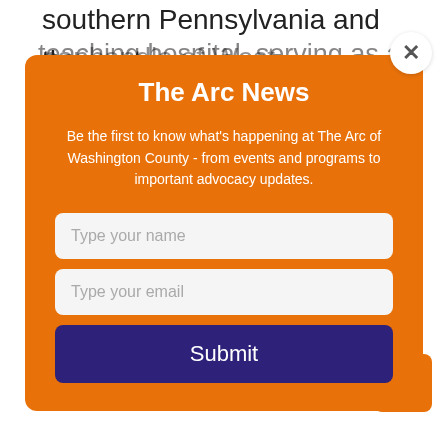southern Pennsylvania and the eastern [panhandle of West Virginia. With...
The Arc News
Be the first to know what's happening at The Arc of Washington County - from events and programs to important advocacy updates.
Type your name
Type your email
Submit
teaching hospital, serving as a clinical training site for the Meritus Family Medicine Residency Program, the only residency program of its kind in the...